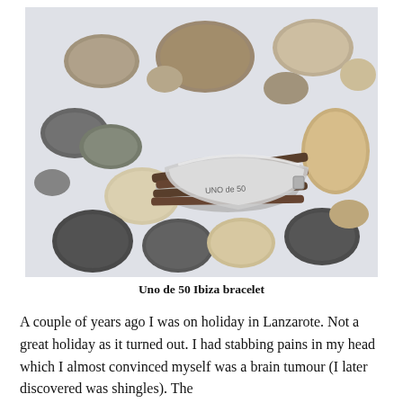[Figure (photo): A leather and silver wrap bracelet branded 'UNO de 50' (Uno de 50 Ibiza bracelet) resting on a pile of smooth stones and pebbles of various sizes and colors including grey, beige, brown, and dark stones, on a white background.]
Uno de 50 Ibiza bracelet
A couple of years ago I was on holiday in Lanzarote. Not a great holiday as it turned out. I had stabbing pains in my head which I almost convinced myself was a brain tumour (I later discovered was shingles). The